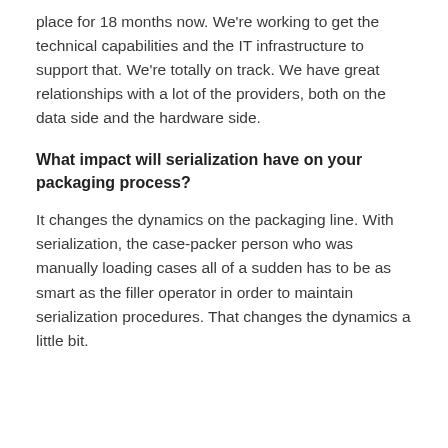place for 18 months now. We're working to get the technical capabilities and the IT infrastructure to support that. We're totally on track. We have great relationships with a lot of the providers, both on the data side and the hardware side.
What impact will serialization have on your packaging process?
It changes the dynamics on the packaging line. With serialization, the case-packer person who was manually loading cases all of a sudden has to be as smart as the filler operator in order to maintain serialization procedures. That changes the dynamics a little bit.